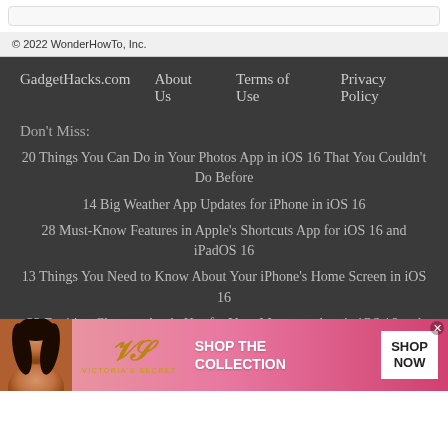[Figure (screenshot): Top rounded bar element from browser UI]
© 2022 WonderHowTo, Inc.
GadgetHacks.com   About Us   Terms of Use   Privacy Policy
Don't Miss:
20 Things You Can Do in Your Photos App in iOS 16 That You Couldn't Do Before
14 Big Weather App Updates for iPhone in iOS 16
28 Must-Know Features in Apple's Shortcuts App for iOS 16 and iPadOS 16
13 Things You Need to Know About Your iPhone's Home Screen in iOS 16
22 Exciting Changes Apple Has for Your Messages App in iOS 16 and iPadOS 16
[Figure (infographic): Victoria's Secret advertisement banner with model photo, VS logo, 'SHOP THE COLLECTION' text, and 'SHOP NOW' button]